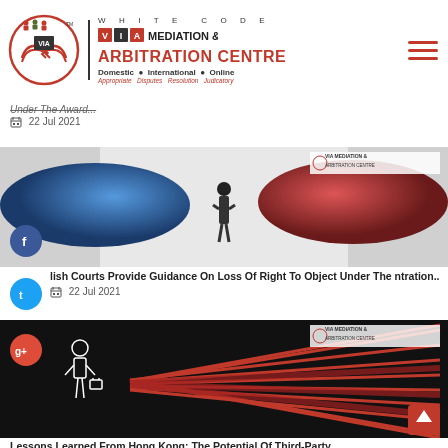[Figure (logo): VIA Mediation & Arbitration Centre logo with circular emblem, white code text, and red arbitration text]
Under The Award...
22 Jul 2021
[Figure (photo): Two boxing gloves (blue and red) facing each other with a small person standing between them holding them apart, watermark in top right]
lish Courts Provide Guidance On Loss Of Right To Object Under The ntration..
22 Jul 2021
[Figure (photo): Dark background with red paint streak lines and a white outline of a person on left side, with VIA watermark]
Lessons Learned From Hong Kong: The Potential Of Third-Party